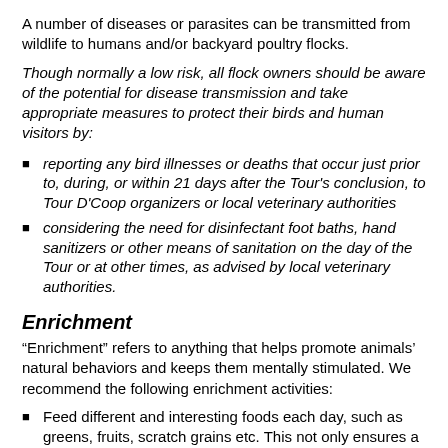A number of diseases or parasites can be transmitted from wildlife to humans and/or backyard poultry flocks.
Though normally a low risk, all flock owners should be aware of the potential for disease transmission and take appropriate measures to protect their birds and human visitors by:
reporting any bird illnesses or deaths that occur just prior to, during, or within 21 days after the Tour's conclusion, to Tour D'Coop organizers or local veterinary authorities
considering the need for disinfectant foot baths, hand sanitizers or other means of sanitation on the day of the Tour or at other times, as advised by local veterinary authorities.
Enrichment
“Enrichment” refers to anything that helps promote animals’ natural behaviors and keeps them mentally stimulated. We recommend the following enrichment activities:
Feed different and interesting foods each day, such as greens, fruits, scratch grains etc. This not only ensures a complete diet, but also gives chickens something to do.
Ensure access to outdoor areas to scratch and dust bathe, look for insects, flap wings and exercise
Interact with your chickens! Most backyard chickens actually